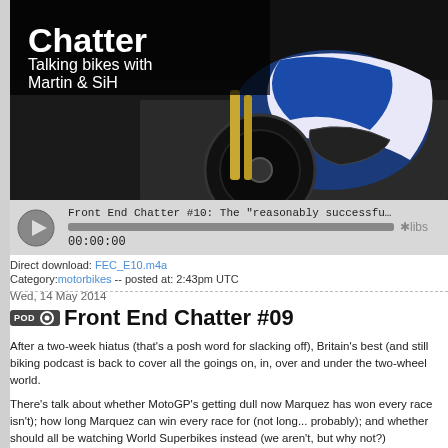[Figure (photo): Hero image showing a motorcycle (blue and white) with text 'Chatter - Talking bikes with Martin & SiH' overlaid on dark background]
[Figure (other): Audio player bar showing: Front End Chatter #10: The 'reasonably successful' and reve... | progress bar | 00:00:00 | Libsyn logo]
Direct download: FEC_E10.m4a
Category: motorbikes -- posted at: 2:43pm UTC
Wed, 14 May 2014
Front End Chatter #09
After a two-week hiatus (that's a posh word for slacking off), Britain's best (and still biking podcast is back to cover all the goings on, in, over and under the two-wheel world.
There's talk about whether MotoGP's getting dull now Marquez has won every race isn't); how long Marquez can win every race for (not long... probably); and whether should all be watching World Superbikes instead (we aren't, but why not?)
Then there's stuff about a bike with a small-capacity engine (Yamaha's MT-125), a